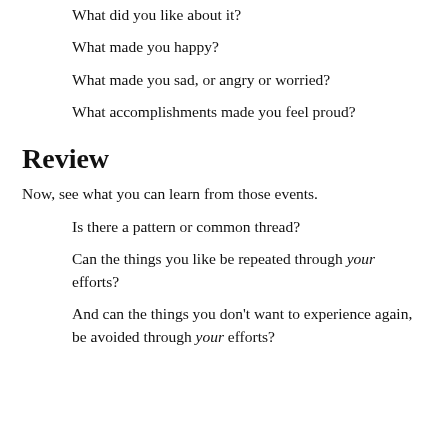What did you like about it?
What made you happy?
What made you sad, or angry or worried?
What accomplishments made you feel proud?
Review
Now, see what you can learn from those events.
Is there a pattern or common thread?
Can the things you like be repeated through your efforts?
And can the things you don't want to experience again, be avoided through your efforts?